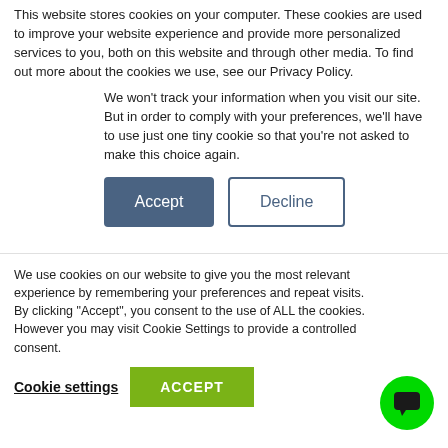This website stores cookies on your computer. These cookies are used to improve your website experience and provide more personalized services to you, both on this website and through other media. To find out more about the cookies we use, see our Privacy Policy.
We won't track your information when you visit our site. But in order to comply with your preferences, we'll have to use just one tiny cookie so that you're not asked to make this choice again.
Accept | Decline (buttons)
[Figure (illustration): Green banner background with large bold text reading FUNCTIONAL HEALTH]
We use cookies on our website to give you the most relevant experience by remembering your preferences and repeat visits. By clicking "Accept", you consent to the use of ALL the cookies. However you may visit Cookie Settings to provide a controlled consent.
Cookie settings   ACCEPT